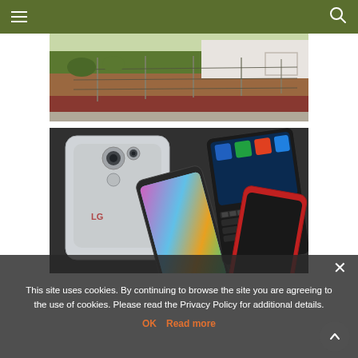Navigation bar with hamburger menu and search icon
[Figure (photo): Outdoor field with grass lawn, chain-link or wire fence, dry red dirt area, and white building wall in the background]
[Figure (photo): Multiple smartphones arranged: LG phone (back view with dual camera), a colorful phone with gradient screen, BlackBerry phone with physical keyboard, and a red phone, all overlapping at angles]
This site uses cookies. By continuing to browse the site you are agreeing to the use of cookies. Please read the Privacy Policy for additional details.
OK   Read more